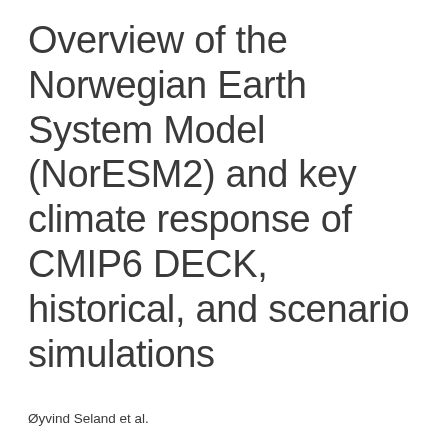Overview of the Norwegian Earth System Model (NorESM2) and key climate response of CMIP6 DECK, historical, and scenario simulations
Øyvind Seland et al.